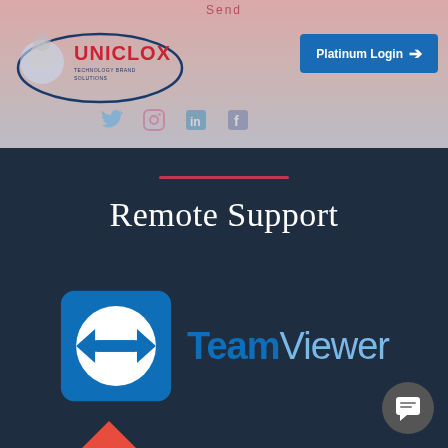Send
[Figure (logo): Uniclox Technology Brand Solutions logo - oval with brain graphic and red/navy text]
[Figure (logo): Shopping cart icon and hamburger menu icon]
[Figure (logo): Platinum Login button with arrow]
[Figure (logo): Social media icons row (Twitter, Instagram, LinkedIn, Facebook)]
Remote Support
[Figure (logo): TeamViewer logo - blue square with white circle and bidirectional arrow, with TeamViewer text in blue]
[Figure (logo): AnyDesk logo - red diamond arrow icon with AnyDesk text in black]
[Figure (other): Chat/message bubble floating action button]